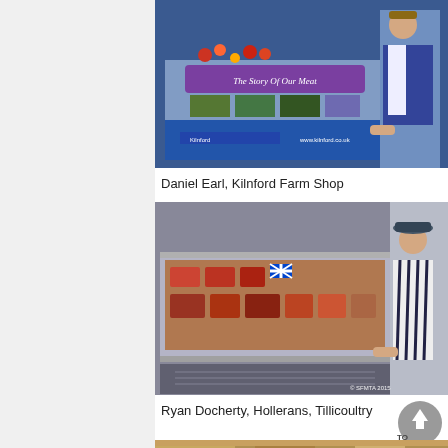[Figure (photo): Daniel Earl standing behind a butcher/deli display counter at Kilnford Farm Shop, wearing blue apron, with a banner reading 'The Story Of Our Meat' and Kilnford branding with website www.kilnford.co.uk]
Daniel Earl, Kilnford Farm Shop
[Figure (photo): Ryan Docherty wearing a hat and striped apron, standing behind a glass display case filled with various meats and products decorated with Scottish flags and other flags, with a copyright mark '© SFMTA 2015']
Ryan Docherty, Hollerans, Tillicoultry
[Figure (photo): Partial view of a third photo at the bottom of the page, partially cut off]